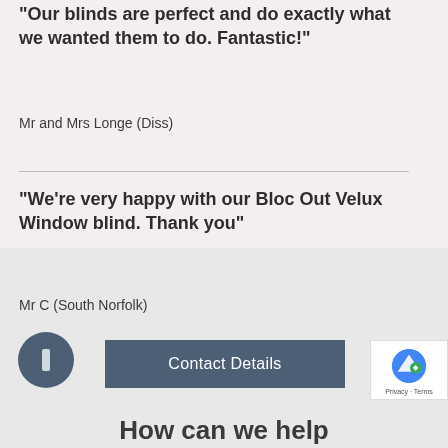“Our blinds are perfect and do exactly what we wanted them to do. Fantastic!”
Mr and Mrs Longe (Diss)
“We’re very happy with our Bloc Out Velux Window blind. Thank you”
Mr C (South Norfolk)
Contact Details
How can we help